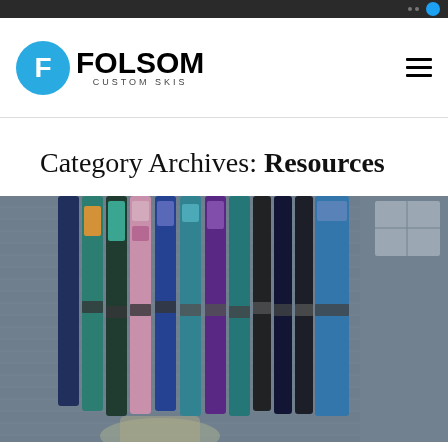Folsom Custom Skis — navigation bar
Category Archives: Resources
[Figure (photo): Photo of multiple colorful custom skis leaning against the exterior wall of a building (grey siding), with various artistic graphics and designs on the skis. A person is partially visible at the bottom of the image.]